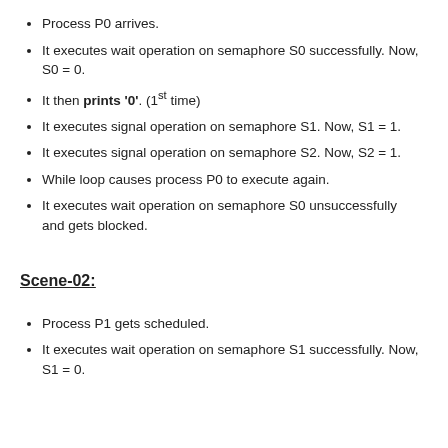Process P0 arrives.
It executes wait operation on semaphore S0 successfully. Now, S0 = 0.
It then prints '0'. (1st time)
It executes signal operation on semaphore S1. Now, S1 = 1.
It executes signal operation on semaphore S2. Now, S2 = 1.
While loop causes process P0 to execute again.
It executes wait operation on semaphore S0 unsuccessfully and gets blocked.
Scene-02:
Process P1 gets scheduled.
It executes wait operation on semaphore S1 successfully. Now, S1 = 0.